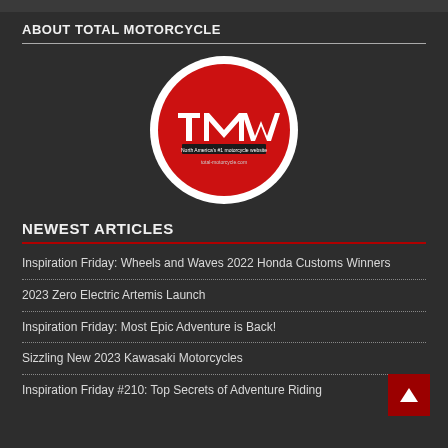ABOUT TOTAL MOTORCYCLE
[Figure (logo): Total Motorcycle (TMW) logo — white circle with red background, featuring the TMW letters in white and text 'North America's #1 motorcycle website' and 'total-motorcycle.com']
NEWEST ARTICLES
Inspiration Friday: Wheels and Waves 2022 Honda Customs Winners
2023 Zero Electric Artemis Launch
Inspiration Friday: Most Epic Adventure is Back!
Sizzling New 2023 Kawasaki Motorcycles
Inspiration Friday #210: Top Secrets of Adventure Riding